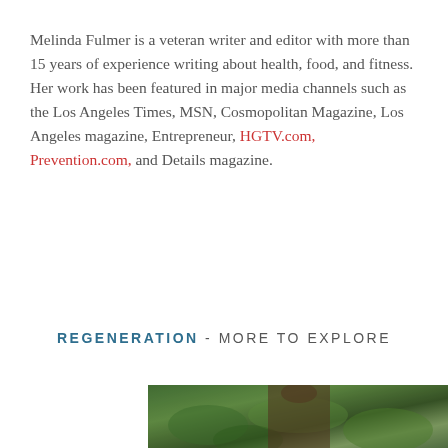Melinda Fulmer is a veteran writer and editor with more than 15 years of experience writing about health, food, and fitness. Her work has been featured in major media channels such as the Los Angeles Times, MSN, Cosmopolitan Magazine, Los Angeles magazine, Entrepreneur, HGTV.com, Prevention.com, and Details magazine.
REGENERATION - MORE TO EXPLORE
[Figure (photo): Partial photo of a person outdoors among green vegetation, cropped at the bottom of the page]